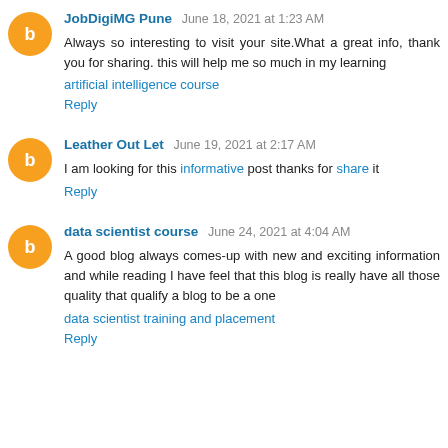JobDigiMG Pune June 18, 2021 at 1:23 AM
Always so interesting to visit your site.What a great info, thank you for sharing. this will help me so much in my learning
artificial intelligence course
Reply
Leather Out Let June 19, 2021 at 2:17 AM
I am looking for this informative post thanks for share it
Reply
data scientist course June 24, 2021 at 4:04 AM
A good blog always comes-up with new and exciting information and while reading I have feel that this blog is really have all those quality that qualify a blog to be a one
data scientist training and placement
Reply